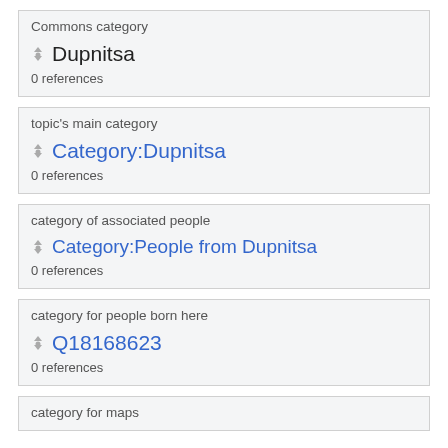Commons category
Dupnitsa
0 references
topic's main category
Category:Dupnitsa
0 references
category of associated people
Category:People from Dupnitsa
0 references
category for people born here
Q18168623
0 references
category for maps